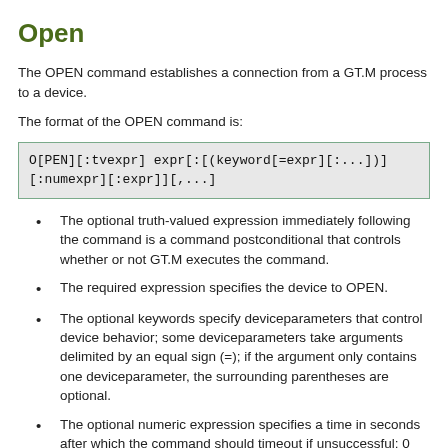Open
The OPEN command establishes a connection from a GT.M process to a device.
The format of the OPEN command is:
The optional truth-valued expression immediately following the command is a command postconditional that controls whether or not GT.M executes the command.
The required expression specifies the device to OPEN.
The optional keywords specify deviceparameters that control device behavior; some deviceparameters take arguments delimited by an equal sign (=); if the argument only contains one deviceparameter, the surrounding parentheses are optional.
The optional numeric expression specifies a time in seconds after which the command should timeout if unsuccessful; 0 provides a single attempt to open the device.